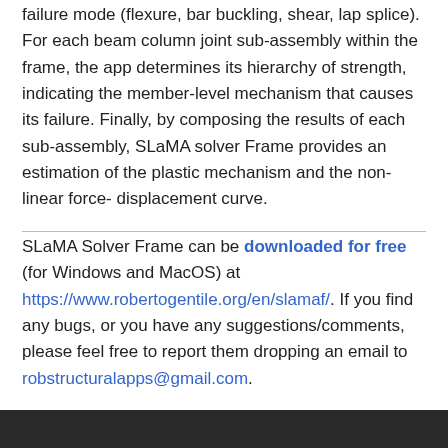failure mode (flexure, bar buckling, shear, lap splice). For each beam column joint sub-assembly within the frame, the app determines its hierarchy of strength, indicating the member-level mechanism that causes its failure. Finally, by composing the results of each sub-assembly, SLaMA solver Frame provides an estimation of the plastic mechanism and the non-linear force-displacement curve.
SLaMA Solver Frame can be downloaded for free (for Windows and MacOS) at https://www.robertogentile.org/en/slamaf/. If you find any bugs, or you have any suggestions/comments, please feel free to report them dropping an email to robstructuralapps@gmail.com.
[Figure (photo): Dark photo strip at the bottom of the page]